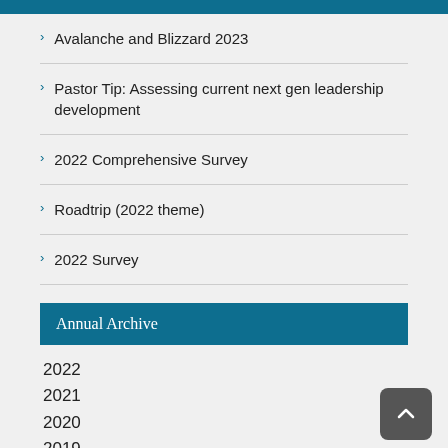Avalanche and Blizzard 2023
Pastor Tip: Assessing current next gen leadership development
2022 Comprehensive Survey
Roadtrip (2022 theme)
2022 Survey
Annual Archive
2022
2021
2020
2019
2018